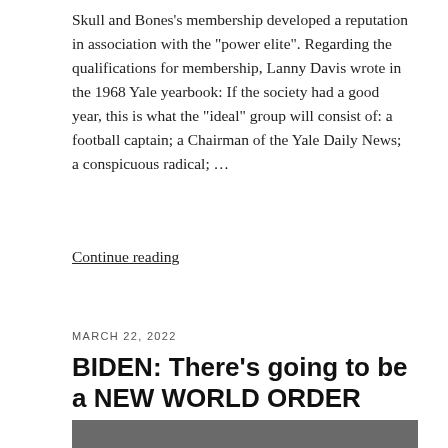Skull and Bones's membership developed a reputation in association with the "power elite". Regarding the qualifications for membership, Lanny Davis wrote in the 1968 Yale yearbook: If the society had a good year, this is what the "ideal" group will consist of: a football captain; a Chairman of the Yale Daily News; a conspicuous radical; …
Continue reading
MARCH 22, 2022
BIDEN: There's going to be a NEW WORLD ORDER
[Figure (photo): Video thumbnail showing a person (Biden) in a dark suit speaking, with 'INDEPENDENT tv' logo overlay at the bottom left. Background is grey.]